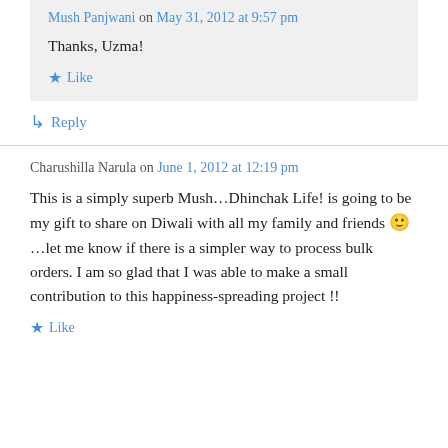Mush Panjwani on May 31, 2012 at 9:57 pm
Thanks, Uzma!
★ Like
↳ Reply
Charushilla Narula on June 1, 2012 at 12:19 pm
This is a simply superb Mush…Dhinchak Life! is going to be my gift to share on Diwali with all my family and friends 🙂 …let me know if there is a simpler way to process bulk orders. I am so glad that I was able to make a small contribution to this happiness-spreading project !!
★ Like